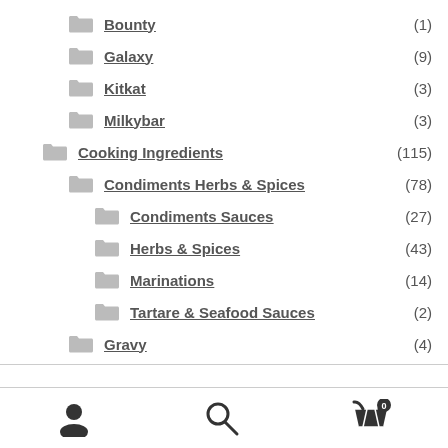Bounty (1)
Galaxy (9)
Kitkat (3)
Milkybar (3)
Cooking Ingredients (115)
Condiments Herbs & Spices (78)
Condiments Sauces (27)
Herbs & Spices (43)
Marinations (14)
Tartare & Seafood Sauces (2)
Gravy (4)
[Figure (screenshot): Bottom navigation bar with user account icon, search icon, and shopping cart icon with badge showing 0]